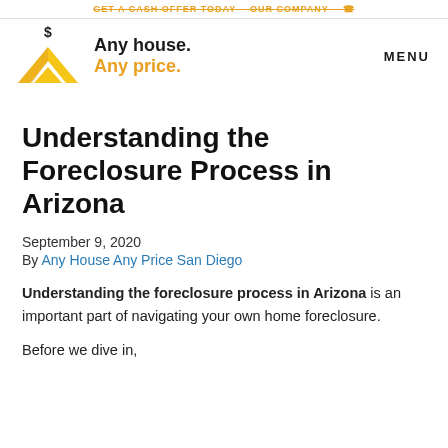GET A CASH OFFER TODAY   OUR COMPANY
[Figure (logo): Any house. Any price. logo with yellow house/chevron icon and dollar sign]
MENU
Understanding the Foreclosure Process in Arizona
September 9, 2020
By Any House Any Price San Diego
Understanding the foreclosure process in Arizona is an important part of navigating your own home foreclosure.
Before we dive in,